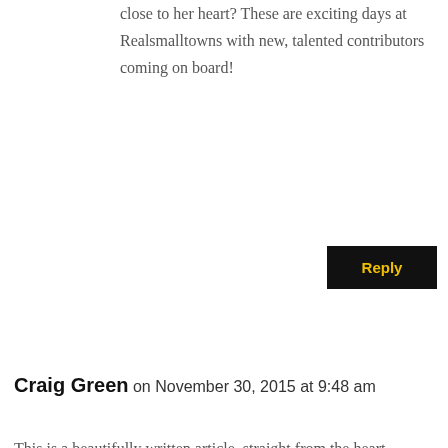close to her heart? These are exciting days at Realsmalltowns with new, talented contributors coming on board!
Reply
Craig Green on November 30, 2015 at 9:48 am
This is a beautifully written article, straight from the heart. Thanks for writing it Amy. By the way, the link at article's end to learn more about Village Fire doesn't work. I think you need to change the destination from